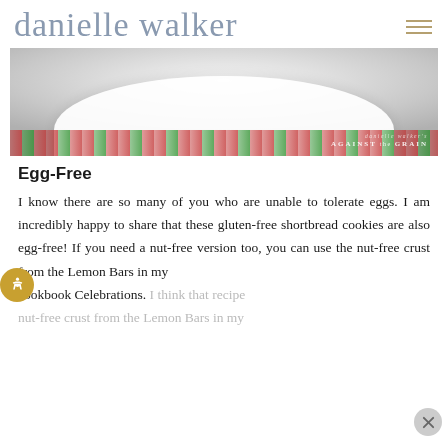danielle walker
[Figure (photo): Close-up photo of a white plate or dish with red and green plaid fabric visible below, with a watermark reading 'danielle walker's AGAINST the GRAIN' in the bottom right corner.]
Egg-Free
I know there are so many of you who are unable to tolerate eggs. I am incredibly happy to share that these gluten-free shortbread cookies are also egg-free! If you need a nut-free version too, you can use the nut-free crust from the Lemon Bars in my cookbook Celebrations. I think that recipe